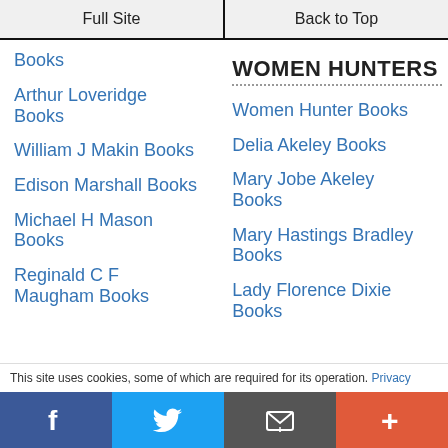Full Site | Back to Top
Books
Arthur Loveridge Books
William J Makin Books
Edison Marshall Books
Michael H Mason Books
Reginald C F Maugham Books
WOMEN HUNTERS
Women Hunter Books
Delia Akeley Books
Mary Jobe Akeley Books
Mary Hastings Bradley Books
Lady Florence Dixie Books
This site uses cookies, some of which are required for its operation. Privacy
Facebook | Twitter | Email | +